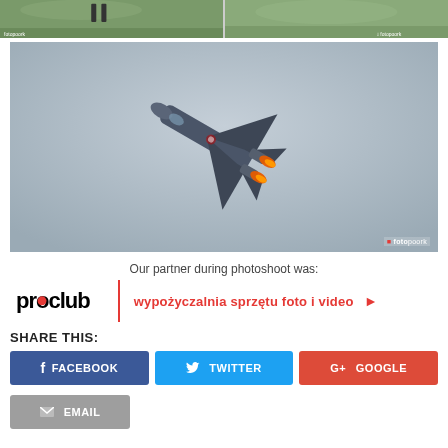[Figure (photo): Two small thumbnail photos at top: left shows people walking on a path in green surroundings, right shows a similar outdoor scene]
[Figure (photo): Large photo of a military jet fighter (MiG-29 or similar) in a near-vertical climb with afterburners glowing orange, against a grey sky. Watermark: fotopoork in bottom right.]
Our partner during photoshoot was:
[Figure (logo): Proclub logo with red circle in the 'o', red vertical divider, red italic text 'wypożyczalnia sprzętu foto i video' with red arrow]
SHARE THIS:
FACEBOOK
TWITTER
GOOGLE
EMAIL